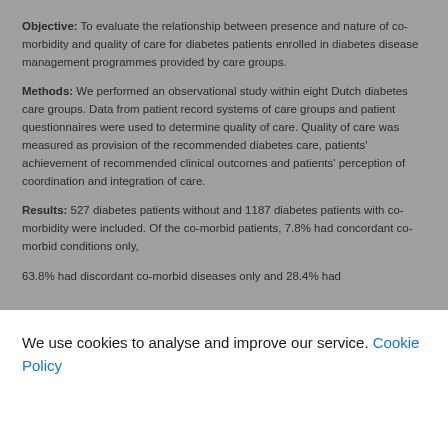Objective: To evaluate the relationship between presence and nature of co-morbidity and quality of care for diabetes patients enrolled in diabetes disease management programmes provided by care groups.
Methods: We performed an observational study within eight Dutch diabetes care groups. Data from patient record systems of care groups and patient questionnaires were used to determine quality of care. Quality of care was measured as provision of the recommended diabetes care, patients' achievement of recommended clinical outcomes and patients' perception of coordination and integration of care.
Results: 527 diabetes patients without and 1187 diabetes patients with co-morbidity were included. Of the co-morbid patients, 7.8% had concordant co-morbid conditions only, 63.8% had discordant co-morbid diseases only and 28.4% had
We use cookies to analyse and improve our service. Cookie Policy